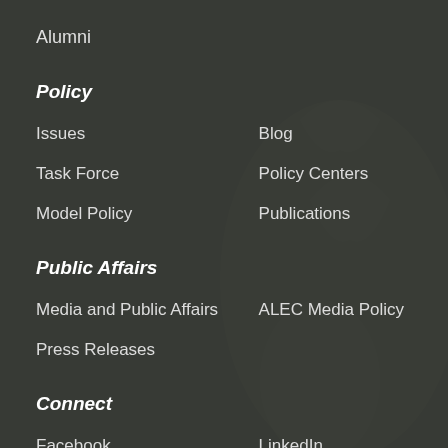Alumni
Policy
Issues
Blog
Task Force
Policy Centers
Model Policy
Publications
Public Affairs
Media and Public Affairs
ALEC Media Policy
Press Releases
Connect
Facebook
LinkedIn
Twitter
YouTube